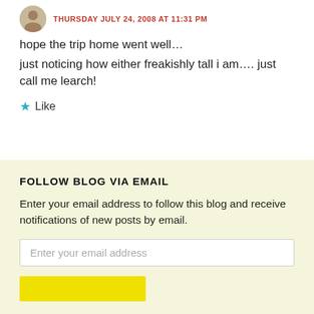THURSDAY JULY 24, 2008 AT 11:31 PM
hope the trip home went well…
just noticing how either freakishly tall i am…. just call me learch!
★ Like
FOLLOW BLOG VIA EMAIL
Enter your email address to follow this blog and receive notifications of new posts by email.
Enter your email address